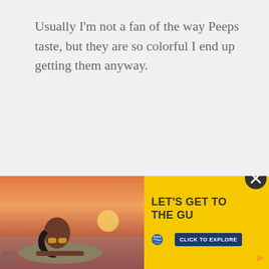Usually I'm not a fan of the way Peeps taste, but they are so colorful I end up getting them anyway.
Reply
[Figure (illustration): Accessibility icon — blue circle with white wheelchair figure]
Trackbacks
Peeps Centerpiece Cookies says:
[Figure (infographic): Advertisement banner for St. Pete Clearwater tourism — yellow background with photo of woman at pool at sunset, text LET'S GET TO THE GU..., logo and CLICK TO EXPLORE button]